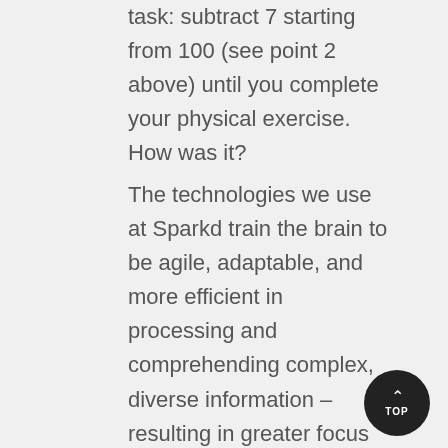task: subtract 7 starting from 100 (see point 2 above) until you complete your physical exercise. How was it?
The technologies we use at Sparkd train the brain to be agile, adaptable, and more efficient in processing and comprehending complex, diverse information – resulting in greater focus and productivity. Hence cognitive training will target and challenge cognitive functions as working memory, attention, and